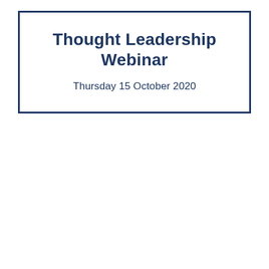Thought Leadership Webinar
Thursday 15 October 2020